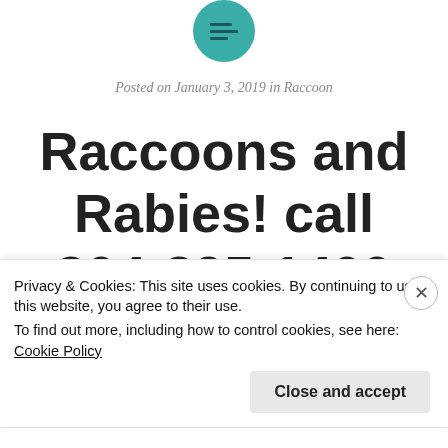[Figure (logo): Teal circular icon with horizontal lines (menu/hamburger icon)]
Posted on January 3, 2019 in Raccoon
Raccoons and Rabies! call 304-395-1400
Wildlife
Privacy & Cookies: This site uses cookies. By continuing to use this website, you agree to their use.
To find out more, including how to control cookies, see here: Cookie Policy
Close and accept